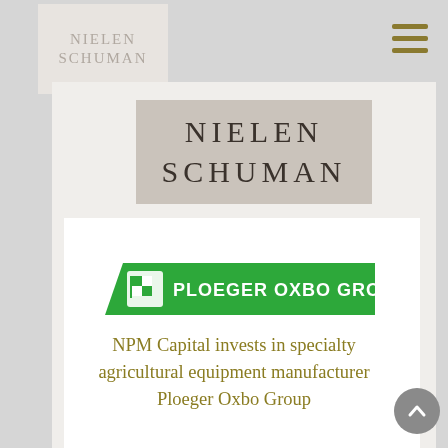[Figure (logo): Nielen Schuman small greyed logo in top-left corner]
[Figure (logo): Nielen Schuman large logo in beige/tan box]
[Figure (logo): Ploeger Oxbo Group green banner logo]
NPM Capital invests in specialty agricultural equipment manufacturer Ploeger Oxbo Group